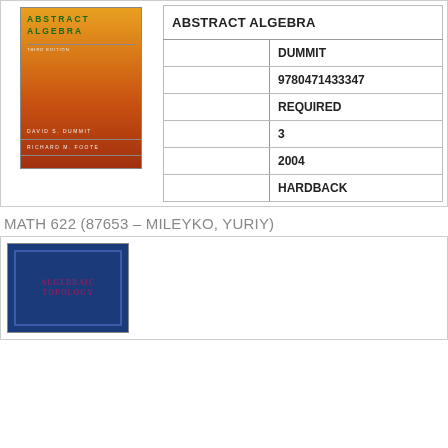[Figure (photo): Book cover of Abstract Algebra, Third Edition by David S. Dummit and Richard M. Foote. Orange/red gradient cover with green title text.]
| ABSTRACT ALGEBRA |
|  | DUMMIT |
|  | 9780471433347 |
|  | REQUIRED |
|  | 3 |
|  | 2004 |
|  | HARDBACK |
MATH 622 (87653 – MILEYKO, YURIY)
[Figure (photo): Book cover of Algebraic Topology by Hatcher. Dark blue cover with maroon title text.]